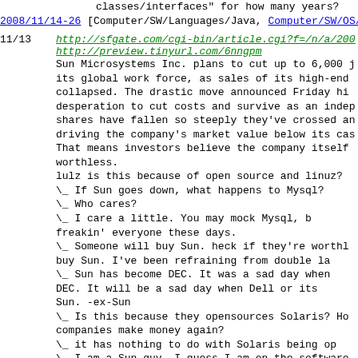classes/interfaces" for how many years?
2008/11/14-26 [Computer/SW/Languages/Java, Computer/SW/OS/S
11/13   http://sfgate.com/cgi-bin/article.cgi?f=/n/a/200
        http://preview.tinyurl.com/6nngpm
        Sun Microsystems Inc. plans to cut up to 6,000 j...
        its global work force, as sales of its high-end ...
        collapsed.  The drastic move announced Friday hi...
        desperation to cut costs and survive as an indep...
        shares have fallen so steeply they've crossed an...
        driving the company's market value below its cas...
        That means investors believe the company itself ...
        worthless.
        lulz is this because of open source and linuz?
        \_ If Sun goes down, what happens to Mysql?
             \_ Who cares?
                  \_ I care a little.  You may mock Mysql, b...
                       freakin' everyone these days.
        \_ Someone will buy Sun.  heck if they're worthl...
             buy Sun.  I've been refraining from double la...
             \_ Sun has become DEC.  It was a sad day when...
                  DEC. It will be a sad day when Dell or its...
                  Sun. -ex-Sun
        \_ Is this because they opensources Solaris?  Ho...
             companies make money again?
             \_ it has nothing to do with Solaris being op...
        \_ I am a Sun guy.  I guess I am on the software...
             so things are not as bad as the headline says...
        \_ IBM could buy Sun right now outright, lay eve...
             contracts, and pay for the acquisition with t...